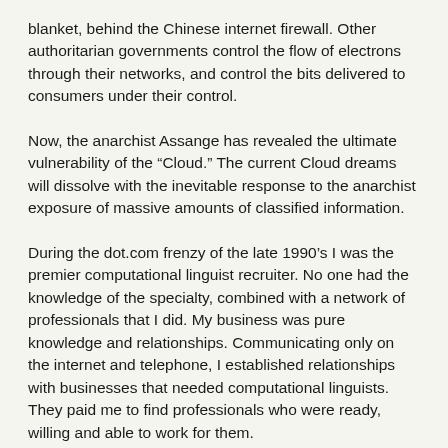blanket, behind the Chinese internet firewall. Other authoritarian governments control the flow of electrons through their networks, and control the bits delivered to consumers under their control.
Now, the anarchist Assange has revealed the ultimate vulnerability of the “Cloud.” The current Cloud dreams will dissolve with the inevitable response to the anarchist exposure of massive amounts of classified information.
During the dot.com frenzy of the late 1990’s I was the premier computational linguist recruiter. No one had the knowledge of the specialty, combined with a network of professionals that I did. My business was pure knowledge and relationships. Communicating only on the internet and telephone, I established relationships with businesses that needed computational linguists. They paid me to find professionals who were ready, willing and able to work for them.